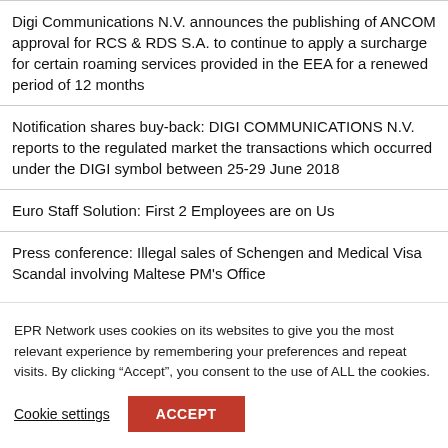Digi Communications N.V. announces the publishing of ANCOM approval for RCS & RDS S.A. to continue to apply a surcharge for certain roaming services provided in the EEA for a renewed period of 12 months
Notification shares buy-back: DIGI COMMUNICATIONS N.V. reports to the regulated market the transactions which occurred under the DIGI symbol between 25-29 June 2018
Euro Staff Solution: First 2 Employees are on Us
Press conference: Illegal sales of Schengen and Medical Visa Scandal involving Maltese PM's Office
EPR Network uses cookies on its websites to give you the most relevant experience by remembering your preferences and repeat visits. By clicking “Accept”, you consent to the use of ALL the cookies.
Cookie settings   ACCEPT